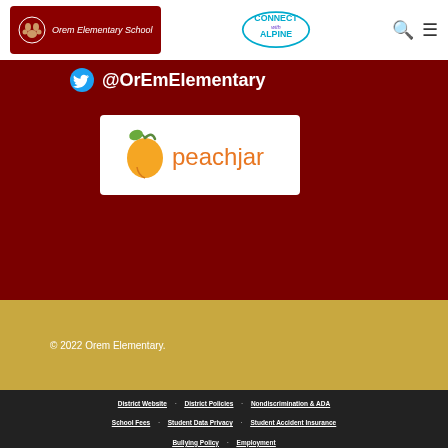Orem Elementary School | Connect with Alpine
@OrEmElementary
[Figure (logo): Peachjar logo with peach icon and orange text on white background]
© 2022 Orem Elementary.
District Website
District Policies
Nondiscrimination & ADA
School Fees
Student Data Privacy
Student Accident Insurance
Bullying Policy
Employment